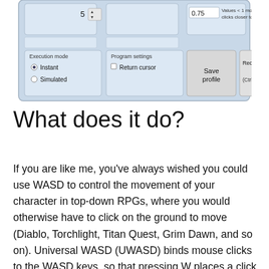[Figure (screenshot): Screenshot of a software settings UI showing execution mode options (Instant/Simulated radio buttons), Program settings (Return cursor checkbox), Save profile button, and Recalculate coordinates button (Ctrl+Shift+Insert), with numeric fields showing values 5 and 0.75]
What does it do?
If you are like me, you've always wished you could use WASD to control the movement of your character in top-down RPGs, where you would otherwise have to click on the ground to move (Diablo, Torchlight, Titan Quest, Grim Dawn, and so on). Universal WASD (UWASD) binds mouse clicks to the WASD keys, so that pressing W places a click above your character and makes them walk up. Or you can tell UWASD to click somewhere else, like clicking to the top-left of your character in some direction.